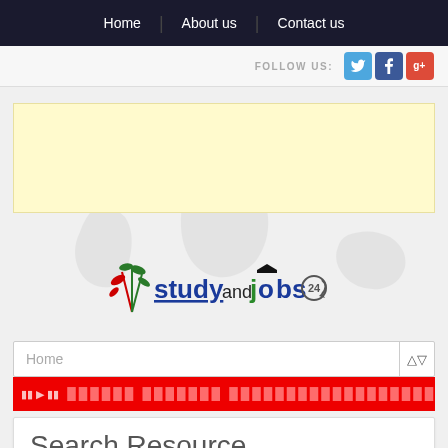Home | About us | Contact us
FOLLOW US:
[Figure (screenshot): World map background watermark in light gray]
[Figure (illustration): Yellow advertisement banner placeholder]
[Figure (logo): studyandjobs24 logo with colorful text and decorative plant/tree icon]
Home
ticker text in red bar with media controls
Search Resource